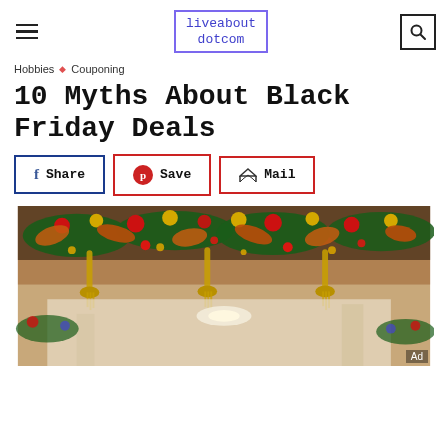liveabout dotcom
Hobbies ◆ Couponing
10 Myths About Black Friday Deals
Share  Save  Mail
[Figure (photo): Overhead view of Christmas/holiday decorations hanging from a ceiling in a mall or department store, featuring garlands, ornaments, gold tassels, red and golden leaves, and colorful ribbons]